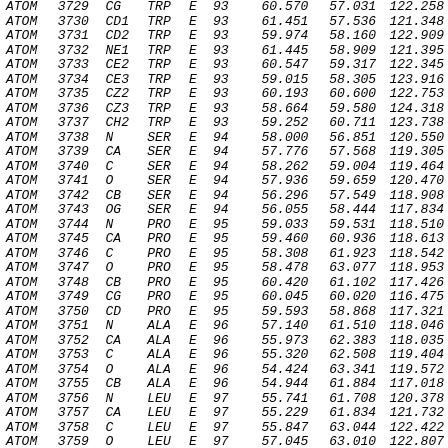| type | serial | atom | res | chain | resSeq | x | y | z |
| --- | --- | --- | --- | --- | --- | --- | --- | --- |
| ATOM | 3729 | CG | TRP | E | 93 | 60.570 | 57.031 | 122.258 |
| ATOM | 3730 | CD1 | TRP | E | 93 | 61.451 | 57.536 | 121.348 |
| ATOM | 3731 | CD2 | TRP | E | 93 | 59.974 | 58.160 | 122.909 |
| ATOM | 3732 | NE1 | TRP | E | 93 | 61.445 | 58.909 | 121.395 |
| ATOM | 3733 | CE2 | TRP | E | 93 | 60.547 | 59.317 | 122.345 |
| ATOM | 3734 | CE3 | TRP | E | 93 | 59.015 | 58.305 | 123.916 |
| ATOM | 3735 | CZ2 | TRP | E | 93 | 60.193 | 60.600 | 122.753 |
| ATOM | 3736 | CZ3 | TRP | E | 93 | 58.664 | 59.580 | 124.318 |
| ATOM | 3737 | CH2 | TRP | E | 93 | 59.252 | 60.711 | 123.738 |
| ATOM | 3738 | N | SER | E | 94 | 58.000 | 56.851 | 120.550 |
| ATOM | 3739 | CA | SER | E | 94 | 57.776 | 57.568 | 119.305 |
| ATOM | 3740 | C | SER | E | 94 | 58.262 | 59.004 | 119.464 |
| ATOM | 3741 | O | SER | E | 94 | 57.936 | 59.659 | 120.470 |
| ATOM | 3742 | CB | SER | E | 94 | 56.296 | 57.549 | 118.908 |
| ATOM | 3743 | OG | SER | E | 94 | 56.055 | 58.444 | 117.834 |
| ATOM | 3744 | N | PRO | E | 95 | 59.033 | 59.531 | 118.510 |
| ATOM | 3745 | CA | PRO | E | 95 | 59.460 | 60.936 | 118.613 |
| ATOM | 3746 | C | PRO | E | 95 | 58.308 | 61.923 | 118.542 |
| ATOM | 3747 | O | PRO | E | 95 | 58.478 | 63.077 | 118.953 |
| ATOM | 3748 | CB | PRO | E | 95 | 60.420 | 61.102 | 117.426 |
| ATOM | 3749 | CG | PRO | E | 95 | 60.045 | 60.020 | 116.475 |
| ATOM | 3750 | CD | PRO | E | 95 | 59.593 | 58.868 | 117.321 |
| ATOM | 3751 | N | ALA | E | 96 | 57.140 | 61.510 | 118.046 |
| ATOM | 3752 | CA | ALA | E | 96 | 55.973 | 62.383 | 118.035 |
| ATOM | 3753 | C | ALA | E | 96 | 55.320 | 62.508 | 119.404 |
| ATOM | 3754 | O | ALA | E | 96 | 54.424 | 63.341 | 119.572 |
| ATOM | 3755 | CB | ALA | E | 96 | 54.944 | 61.884 | 117.018 |
| ATOM | 3756 | N | LEU | E | 97 | 55.741 | 61.708 | 120.378 |
| ATOM | 3757 | CA | LEU | E | 97 | 55.229 | 61.834 | 121.732 |
| ATOM | 3758 | C | LEU | E | 97 | 55.847 | 63.044 | 122.422 |
| ATOM | 3759 | O | LEU | E | 97 | 57.045 | 63.010 | 122.807 |